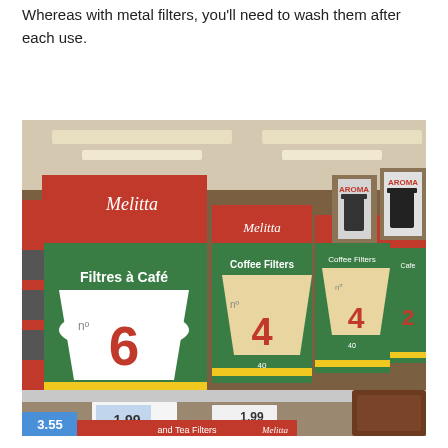Whereas with metal filters, you'll need to wash them after each use.
[Figure (photo): Store shelf with multiple boxes of Melitta coffee filters (Filtres à Café No. 6, Coffee Filters No. 4, No. 2) and Aroma brand coffee makers on the right. Price tags visible including 3.55, 1.99. A sign reading 'and Tea Filters' with Melitta branding visible at the bottom.]